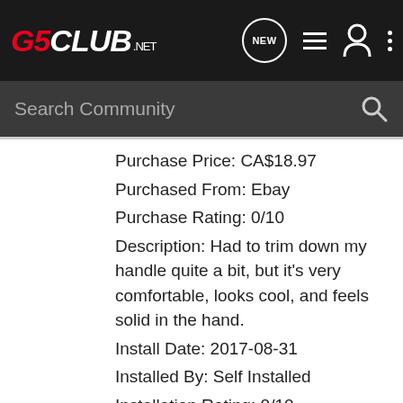[Figure (screenshot): G5CLUB.net navigation bar with logo, NEW icon, list icon, person icon, and dots icon on dark background]
[Figure (screenshot): Search Community search bar on dark grey background with magnifying glass icon]
Purchase Price: CA$18.97
Purchased From: Ebay
Purchase Rating: 0/10
Description: Had to trim down my handle quite a bit, but it's very comfortable, looks cool, and feels solid in the hand.
Install Date: 2017-08-31
Installed By: Self Installed
Installation Rating: 0/10
Comments:
Exterior
Product: Vision LED
Manufacturer: Philips
Product Rating: 10/10
Purchase Date: 0/10